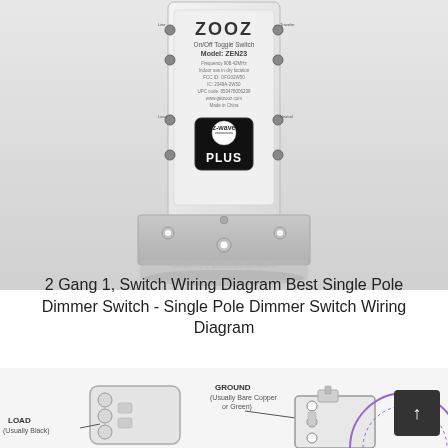[Figure (photo): Photo of a ZOOZ On/Off Toggle Switch Model ZEN23 with Z-Wave Plus logo, showing the back/underside of the device with screw terminals and mounting bracket. The device is white and appears to be installed in a wall switch position.]
Source : zookastar.com
2 Gang 1, Switch Wiring Diagram Best Single Pole Dimmer Switch - Single Pole Dimmer Switch Wiring Diagram
[Figure (engineering-diagram): Partial wiring diagram showing a single pole dimmer switch with labels for GROUND (Usually Bare Copper or Green) and LOAD (Usually Black). The diagram shows the switch terminals and wiring connections. A partial circular diagram is visible on the right side.]